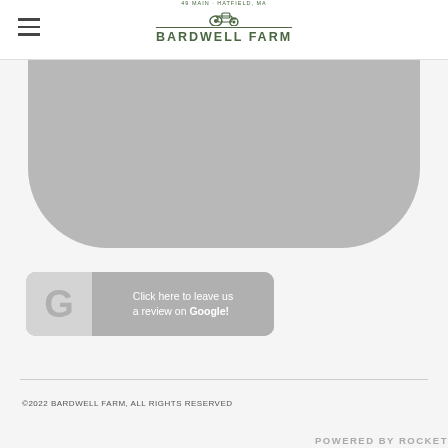BARDWELL FARM
[Figure (photo): Gray placeholder image with rounded bottom corners, representing a farm or venue photo]
[Figure (other): Google review button: large G logo on left, text 'Click here to leave us a review on Google!' on right, gray colors]
©2022 BARDWELL FARM, ALL RIGHTS RESERVED
POWERED BY ROCKET